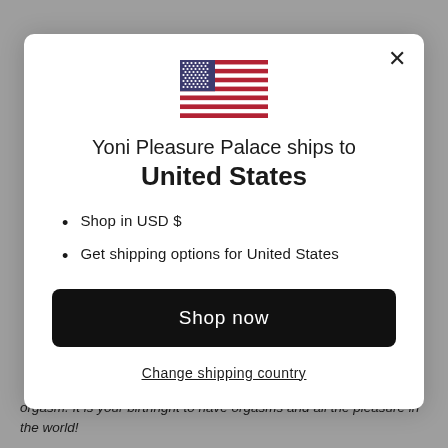[Figure (screenshot): A modal dialog popup on a website. Shows a US flag icon, text 'Yoni Pleasure Palace ships to United States', bullet points for USD and shipping, a 'Shop now' button, and a 'Change shipping country' link. Behind the modal is a grey background with partially visible italic body text at the bottom.]
Yoni Pleasure Palace ships to United States
Shop in USD $
Get shipping options for United States
Shop now
Change shipping country
orgasm. It is your birthright to have orgasms and all the pleasure in the world!